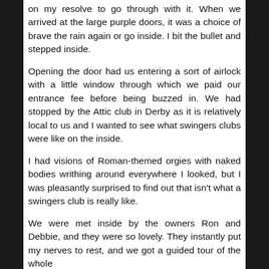on my resolve to go through with it. When we arrived at the large purple doors, it was a choice of brave the rain again or go inside. I bit the bullet and stepped inside.
Opening the door had us entering a sort of airlock with a little window through which we paid our entrance fee before being buzzed in. We had stopped by the Attic club in Derby as it is relatively local to us and I wanted to see what swingers clubs were like on the inside.
I had visions of Roman-themed orgies with naked bodies writhing around everywhere I looked, but I was pleasantly surprised to find out that isn't what a swingers club is really like.
We were met inside by the owners Ron and Debbie, and they were so lovely. They instantly put my nerves to rest, and we got a guided tour of the whole